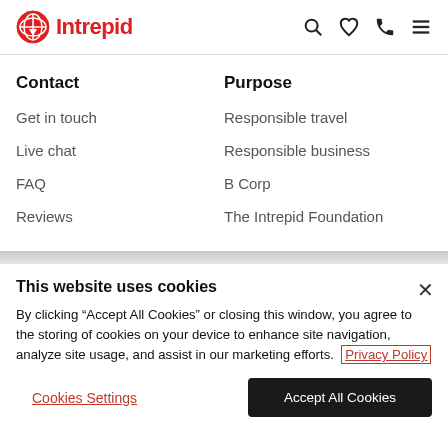Intrepid
Contact
Get in touch
Live chat
FAQ
Reviews
Purpose
Responsible travel
Responsible business
B Corp
The Intrepid Foundation
This website uses cookies
By clicking "Accept All Cookies" or closing this window, you agree to the storing of cookies on your device to enhance site navigation, analyze site usage, and assist in our marketing efforts. Privacy Policy
Cookies Settings
Accept All Cookies